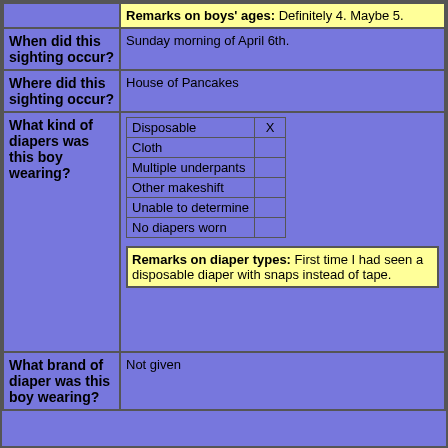|  | Remarks on boys' ages: Definitely 4. Maybe 5. |
| When did this sighting occur? | Sunday morning of April 6th. |
| Where did this sighting occur? | House of Pancakes |
| What kind of diapers was this boy wearing? | [Disposable X] [Cloth] [Multiple underpants] [Other makeshift] [Unable to determine] [No diapers worn]
Remarks on diaper types: First time I had seen a disposable diaper with snaps instead of tape. |
| What brand of diaper was this boy wearing? | Not given |